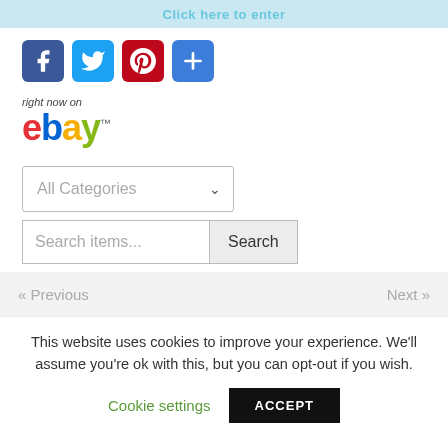[Figure (screenshot): Top banner with 'Click here to enter' text on cyan/blue background]
[Figure (infographic): Social sharing icons: Facebook (blue), Twitter (blue bird), Pinterest (red), and a plus/share button (blue)]
right now on
[Figure (logo): eBay logo with colored letters: e(red), b(blue), a(yellow), y(green) with trademark symbol]
[Figure (screenshot): All Categories dropdown selector with chevron arrow]
[Figure (screenshot): Search items... input field with Search button]
[Figure (screenshot): Pagination bar with « Previous on left and Next » on right on gray background]
This website uses cookies to improve your experience. We'll assume you're ok with this, but you can opt-out if you wish.
Cookie settings
ACCEPT